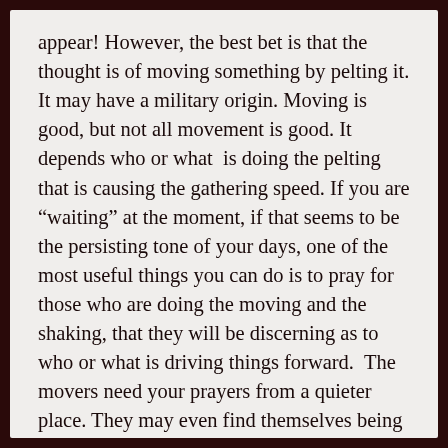appear! However, the best bet is that the thought is of moving something by pelting it. It may have a military origin. Moving is good, but not all movement is good. It depends who or what  is doing the pelting that is causing the gathering speed. If you are “waiting” at the moment, if that seems to be the persisting tone of your days, one of the most useful things you can do is to pray for those who are doing the moving and the shaking, that they will be discerning as to who or what is driving things forward.  The movers need your prayers from a quieter place. They may even find themselves being drawn to you sensing in all their